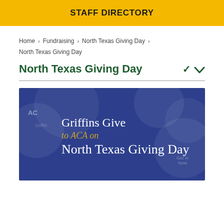STAFF DIRECTORY
Home > Fundraising > North Texas Giving Day > North Texas Giving Day
North Texas Giving Day
[Figure (illustration): Promotional banner image with blue background showing circular logos/balloons, with text 'Griffins Give to ACA on North Texas Giving Day' in white and gold serif font.]